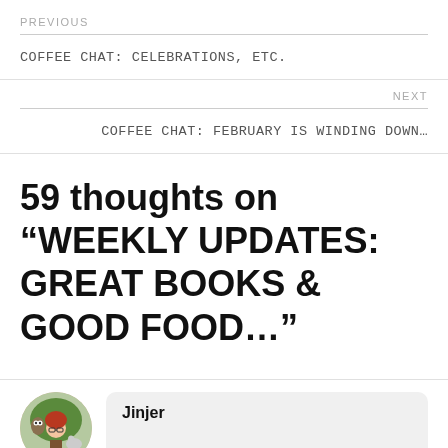PREVIOUS
COFFEE CHAT: CELEBRATIONS, ETC.
NEXT
COFFEE CHAT: FEBRUARY IS WINDING DOWN…
59 thoughts on “WEEKLY UPDATES: GREAT BOOKS & GOOD FOOD…”
Jinjer